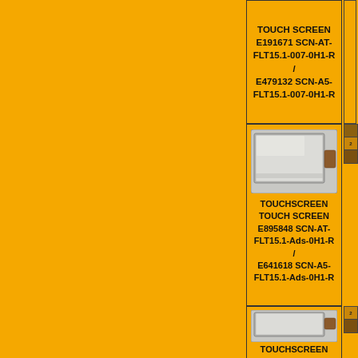TOUCH SCREEN E191671 SCN-AT-FLT15.1-007-0H1-R / E479132 SCN-A5-FLT15.1-007-0H1-R
[Figure (photo): Touch screen panel product photo showing a rectangular flat touchscreen with a brown connector tab on the right side]
TOUCHSCREEN TOUCH SCREEN E895848 SCN-AT-FLT15.1-Ads-0H1-R / E641618 SCN-A5-FLT15.1-Ads-0H1-R
[Figure (photo): Touch screen panel product photo showing a rectangular flat touchscreen with a brown connector tab on the right side]
TOUCHSCREEN